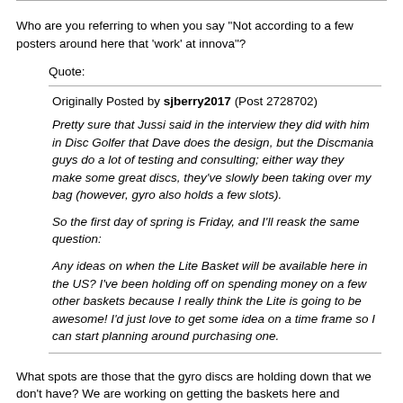Who are you referring to when you say "Not according to a few posters around here that 'work' at innova"?
Quote:
Originally Posted by sjberry2017 (Post 2728702)
Pretty sure that Jussi said in the interview they did with him in Disc Golfer that Dave does the design, but the Discmania guys do a lot of testing and consulting; either way they make some great discs, they've slowly been taking over my bag (however, gyro also holds a few slots).

So the first day of spring is Friday, and I'll reask the same question:

Any ideas on when the Lite Basket will be available here in the US? I've been holding off on spending money on a few other baskets because I really think the Lite is going to be awesome! I'd just love to get some idea on a time frame so I can start planning around purchasing one.
What spots are those that the gyro discs are holding down that we don't have? We are working on getting the baskets here and available for sale soon. The basket catches amazing. When we got them to test here in the US we were quite surprised at the level this thing catches.